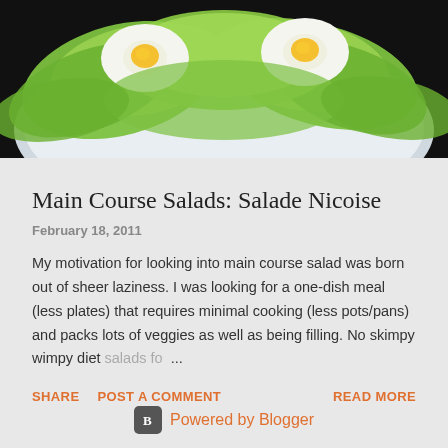[Figure (photo): Top portion of a salad with hard-boiled eggs and green lettuce leaves on a plate, cropped at top of page]
Main Course Salads: Salade Nicoise
February 18, 2011
My motivation for looking into main course salad was born out of sheer laziness. I was looking for a one-dish meal (less plates) that requires minimal cooking (less pots/pans) and packs lots of veggies as well as being filling. No skimpy wimpy diet salads fo ...
SHARE   POST A COMMENT   READ MORE
Powered by Blogger